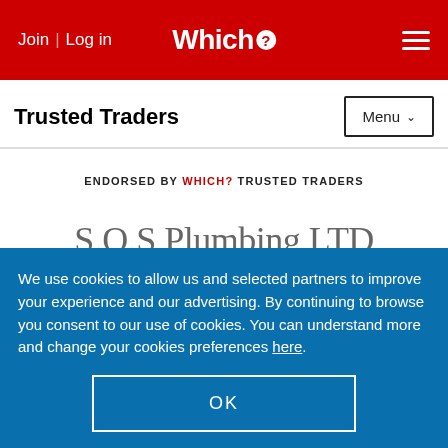Join | Log in   Which?   [menu]
Trusted Traders
ENDORSED BY Which? TRUSTED TRADERS
S.O.S Plumbing LTD
We use cookies to allow us and selected partners to improve your experience and our advertising. By continuing to browse you consent to our use of cookies. You can understand more and change your cookies preferences here.
OK